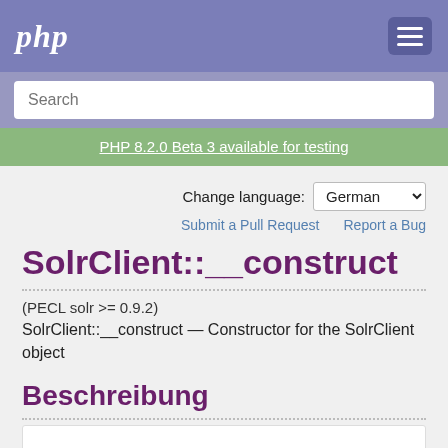php
Search
PHP 8.2.0 Beta 3 available for testing
Change language: German
Submit a Pull Request   Report a Bug
SolrClient::__construct
(PECL solr >= 0.9.2)
SolrClient::__construct — Constructor for the SolrClient object
Beschreibung